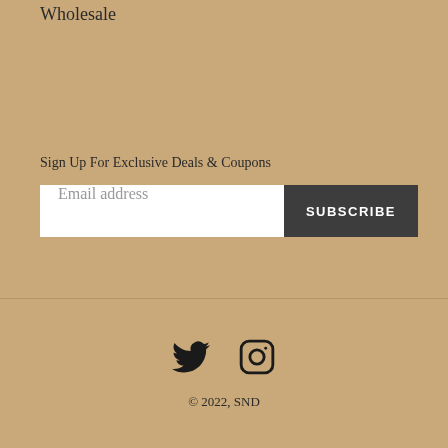Wholesale
Sign Up For Exclusive Deals & Coupons
Email address
SUBSCRIBE
[Figure (other): Twitter bird icon and Instagram camera icon social media links]
© 2022, SND